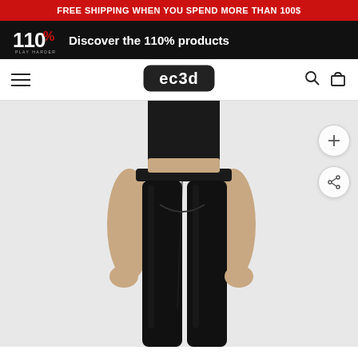FREE SHIPPING WHEN YOU SPEND MORE THAN 100$
Discover the 110% products
[Figure (screenshot): ec3d brand navigation bar with hamburger menu, ec3d logo, search and cart icons]
[Figure (photo): Man wearing black compression tights/leggings from the front, showing the full lower body from waist down]